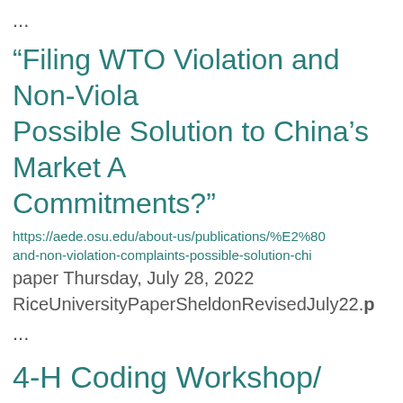...
“Filing WTO Violation and Non-Violation Complaints as a Possible Solution to China’s Market Access Commitments?”
https://aede.osu.edu/about-us/publications/%E2%80%9Cfiling-wto-violation-and-non-violation-complaints-possible-solution-chi
paper Thursday, July 28, 2022
RiceUniversityPaperSheldonRevisedJuly22.p
...
4-H Coding Workshop/ Canceled
https://greene.osu.edu/news/4-h-coding-workshop
Coding Workshop Clovers CODE, a statewide